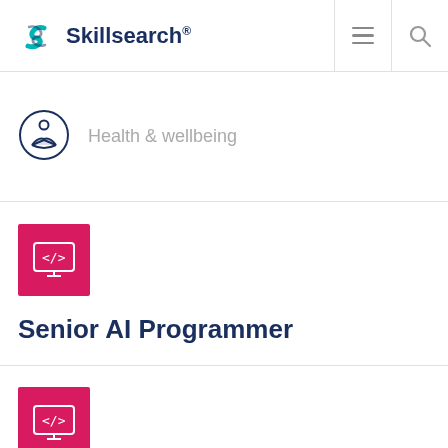[Figure (logo): Skillsearch logo with teal swirl icon and dark blue bold text 'Skillsearch®']
Health & wellbeing
[Figure (illustration): Pink square icon with white monitor/code display graphic]
Senior AI Programmer
[Figure (illustration): Pink square icon with white monitor/code display graphic]